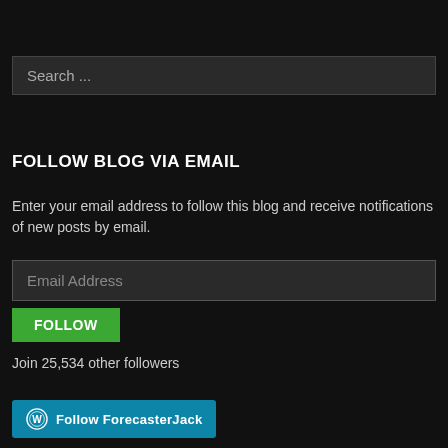Search ...
FOLLOW BLOG VIA EMAIL
Enter your email address to follow this blog and receive notifications of new posts by email.
Email Address
FOLLOW
Join 25,534 other followers
[Figure (other): WordPress Follow Forecasterjack button with WordPress logo icon on teal/cyan background]